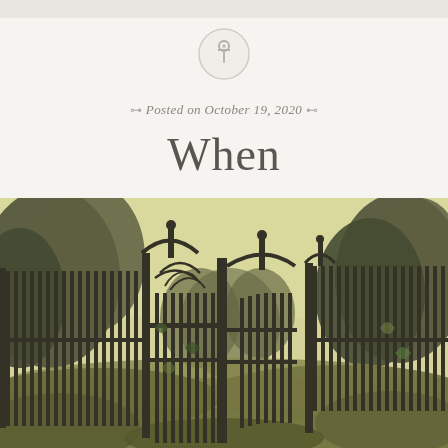[Figure (illustration): Circular pin/thumbtack icon with a light gray border on a light beige background]
Posted on October 19, 2020
When
[Figure (photo): Ornate black wrought iron garden gate partially open, surrounded by lush green trees and overgrown vegetation, with a yellow-green sky in the background. The gate has decorative scrollwork and Gothic-style arched tops.]